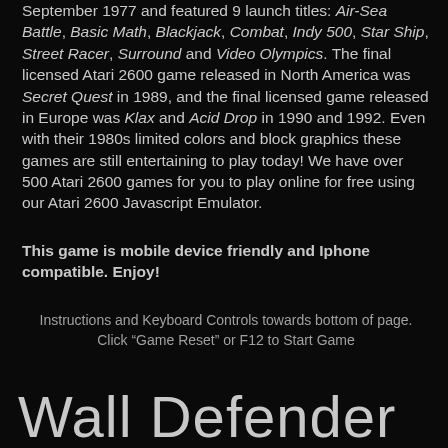September 1977 and featured 9 launch titles: Air-Sea Battle, Basic Math, Blackjack, Combat, Indy 500, Star Ship, Street Racer, Surround and Video Olympics. The final licensed Atari 2600 game released in North America was Secret Quest in 1989, and the final licensed game released in Europe was Klax and Acid Drop in 1990 and 1992. Even with their 1980s limited colors and block graphics these games are still entertaining to play today! We have over 500 Atari 2600 games for you to play online for free using our Atari 2600 Javascript Emulator.
This game is mobile device friendly and Iphone compatible. Enjoy!
Instructions and Keyboard Controls towards bottom of page.
Click “Game Reset” or F12 to Start Game
Wall Defender